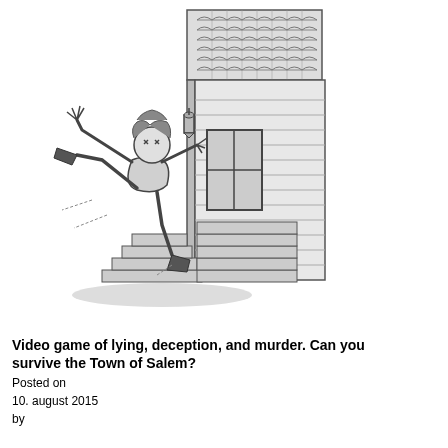[Figure (illustration): Black and white pen and ink illustration showing a person being thrown or falling backwards from the steps of a building at night, with a crescent moon visible in the upper right. The building has a tiled roof, clapboard siding, and a lantern near the door. The person's arms are outstretched and they appear to be mid-air.]
Video game of lying, deception, and murder. Can you survive the Town of Salem?
Posted on
10. august 2015
by